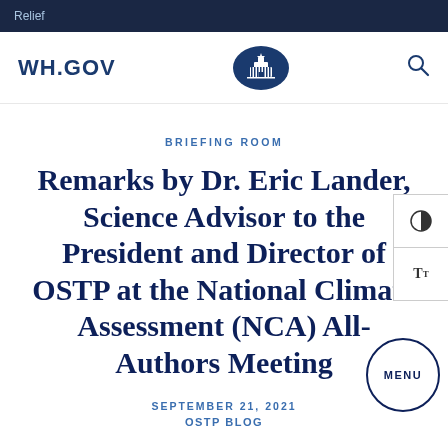Relief
WH.GOV
BRIEFING ROOM
Remarks by Dr. Eric Lander, Science Advisor to the President and Director of OSTP at the National Climate Assessment (NCA) All-Authors Meeting
SEPTEMBER 21, 2021
OSTP BLOG